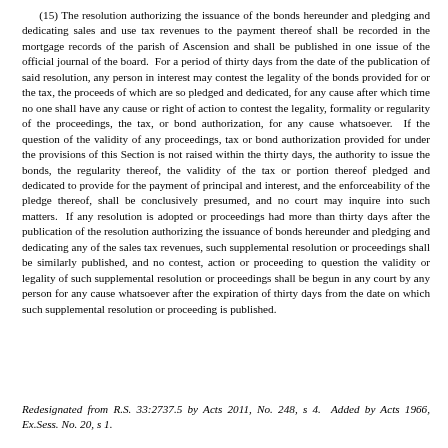(15) The resolution authorizing the issuance of the bonds hereunder and pledging and dedicating sales and use tax revenues to the payment thereof shall be recorded in the mortgage records of the parish of Ascension and shall be published in one issue of the official journal of the board. For a period of thirty days from the date of the publication of said resolution, any person in interest may contest the legality of the bonds provided for or the tax, the proceeds of which are so pledged and dedicated, for any cause after which time no one shall have any cause or right of action to contest the legality, formality or regularity of the proceedings, the tax, or bond authorization, for any cause whatsoever. If the question of the validity of any proceedings, tax or bond authorization provided for under the provisions of this Section is not raised within the thirty days, the authority to issue the bonds, the regularity thereof, the validity of the tax or portion thereof pledged and dedicated to provide for the payment of principal and interest, and the enforceability of the pledge thereof, shall be conclusively presumed, and no court may inquire into such matters. If any resolution is adopted or proceedings had more than thirty days after the publication of the resolution authorizing the issuance of bonds hereunder and pledging and dedicating any of the sales tax revenues, such supplemental resolution or proceedings shall be similarly published, and no contest, action or proceeding to question the validity or legality of such supplemental resolution or proceedings shall be begun in any court by any person for any cause whatsoever after the expiration of thirty days from the date on which such supplemental resolution or proceeding is published.
Redesignated from R.S. 33:2737.5 by Acts 2011, No. 248, s 4. Added by Acts 1966, Ex.Sess. No. 20, s 1.